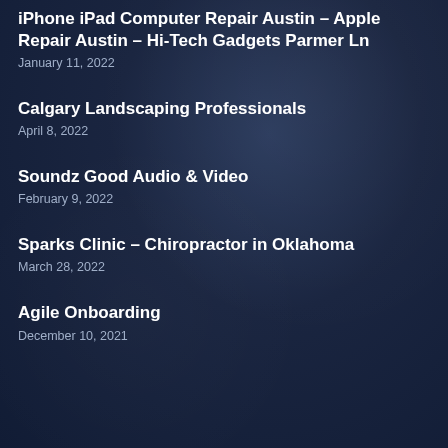iPhone iPad Computer Repair Austin – Apple Repair Austin – Hi-Tech Gadgets Parmer Ln
January 11, 2022
Calgary Landscaping Professionals
April 8, 2022
Soundz Good Audio & Video
February 9, 2022
Sparks Clinic – Chiropractor in Oklahoma
March 28, 2022
Agile Onboarding
December 10, 2021